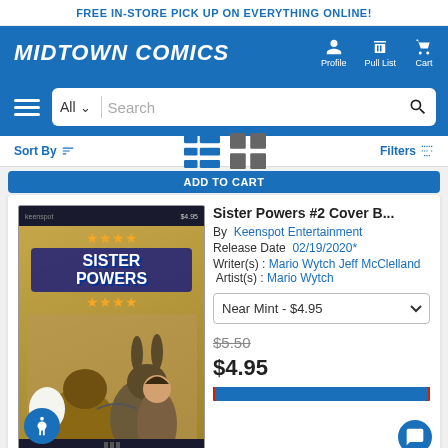FREE IN-STORE PICK UP ON EVERYTHING ONLINE!
[Figure (logo): Midtown Comics logo with navigation icons for Profile, Pull List, and Cart]
[Figure (screenshot): Search bar with All dropdown and Search placeholder]
Sort By | Filters
[Figure (photo): Sister Powers #2 Cover B comic book cover showing animated fox and rabbit characters hugging]
Sister Powers #2 Cover B...
By Keenspot Entertainment
Release Date 02/19/2020*
Writer(s) : Mario Wytch Jeff McClelland  Artist(s) : Mario Wytch
Near Mint - $4.95
$5.50
$4.95